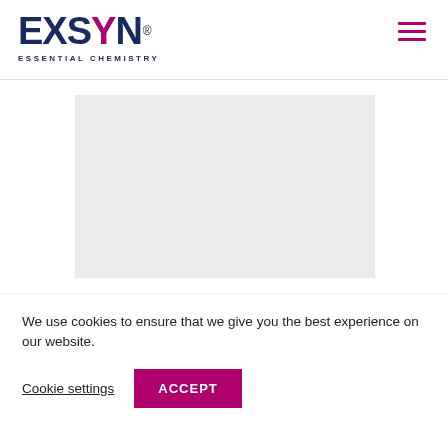[Figure (logo): EXSYN Essential Chemistry logo with dark blue text and magenta Y letter, plus hamburger menu icon in magenta]
[Figure (photo): Light gray image placeholder rectangle]
We use cookies to ensure that we give you the best experience on our website.
Cookie settings
ACCEPT